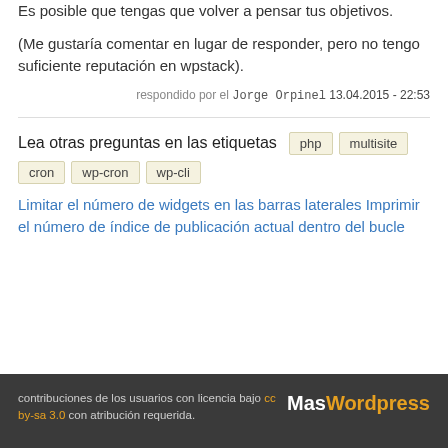Es posible que tengas que volver a pensar tus objetivos.
(Me gustaría comentar en lugar de responder, pero no tengo suficiente reputación en wpstack).
respondido por el Jorge Orpinel 13.04.2015 - 22:53
Lea otras preguntas en las etiquetas php multisite cron wp-cron wp-cli
Limitar el número de widgets en las barras laterales Imprimir el número de índice de publicación actual dentro del bucle
contribuciones de los usuarios con licencia bajo cc by-sa 3.0 con atribución requerida. MasWordpress